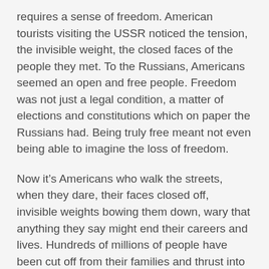requires a sense of freedom. American tourists visiting the USSR noticed the tension, the invisible weight, the closed faces of the people they met. To the Russians, Americans seemed an open and free people. Freedom was not just a legal condition, a matter of elections and constitutions which on paper the Russians had. Being truly free meant not even being able to imagine the loss of freedom.
Now it's Americans who walk the streets, when they dare, their faces closed off, invisible weights bowing them down, wary that anything they say might end their careers and lives. Hundreds of millions of people have been cut off from their families and thrust into a national conversation mediated by giant monopolies set up to enable the informants of cancel culture.
The perfect panopticon that the KGB could have only dreamed of is here and we're living in it. There is no telling when someone might be watching you, taping you, provoking a confrontation that will be posted on social media, made to go viral, and lead to permanent unemployment.